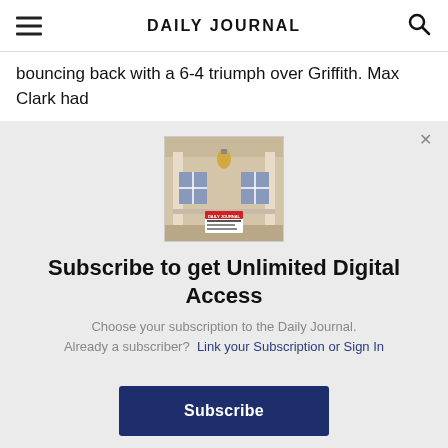DAILY JOURNAL
bouncing back with a 6-4 triumph over Griffith. Max Clark had
[Figure (photo): Photo of a Daily Journal newspaper on a porch/doorstep with a house in the background]
Subscribe to get Unlimited Digital Access
Choose your subscription to the Daily Journal.
Already a subscriber?  Link your Subscription or Sign In
Subscribe